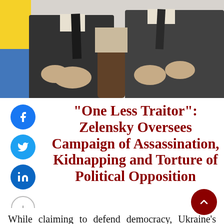[Figure (photo): Two men in suits gesturing with hands during a discussion, photographed from chest level, with a yellow and blue Ukrainian flag visible at the left edge]
“One Less Traitor”: Zelensky Oversees Campaign of Assassination, Kidnapping and Torture of Political Opposition
While claiming to defend democracy, Ukraine’s Volodymyr Zelensky has outlawed his opposition, ordered his rivals’ arrest, and presided over the disappearance and assassination of dissidents across the coun—
(continues...)